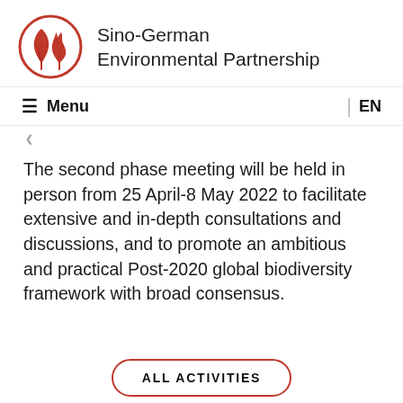[Figure (logo): Sino-German Environmental Partnership logo: two red ginkgo leaf icons inside a red circle]
Sino-German Environmental Partnership
≡ Menu | EN
The second phase meeting will be held in person from 25 April-8 May 2022 to facilitate extensive and in-depth consultations and discussions, and to promote an ambitious and practical Post-2020 global biodiversity framework with broad consensus.
ALL ACTIVITIES